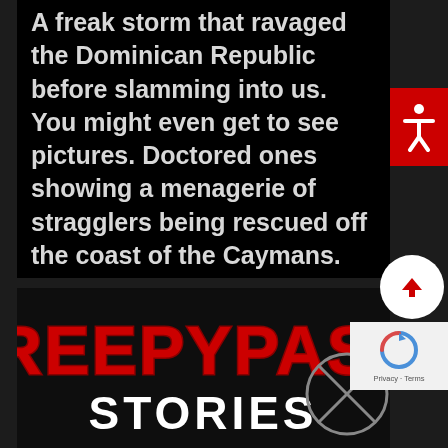A freak storm that ravaged the Dominican Republic before slamming into us. You might even get to see pictures. Doctored ones showing a menagerie of stragglers being rescued off the coast of the Caymans. That's if they decide to share anything…
READ MORE
[Figure (logo): Creepypasta Stories logo with red grunge lettering and crossed-out circle symbol]